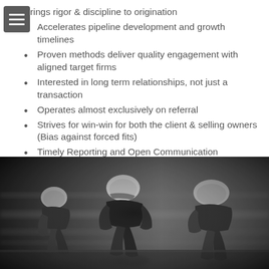Brings rigor & discipline to origination
Accelerates pipeline development and growth timelines
Proven methods deliver quality engagement with aligned target firms
Interested in long term relationships, not just a transaction
Operates almost exclusively on referral
Strives for win-win for both the client & selling owners (Bias against forced fits)
Timely Reporting and Open Communication Throughout the Search Process
[Figure (photo): Black and white motion-blur photograph of three cyclists racing, hunched over their handlebars wearing helmets]